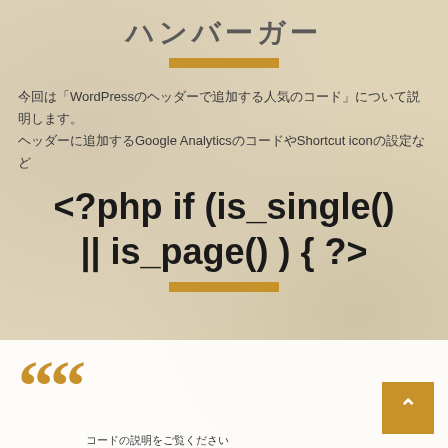（Japanese title characters）
（Japanese body text）Google Analytics（Japanese text）Shortcut icon（Japanese text）
<?php if (is_single() || is_page() ) { ?>
（Japanese quote text）